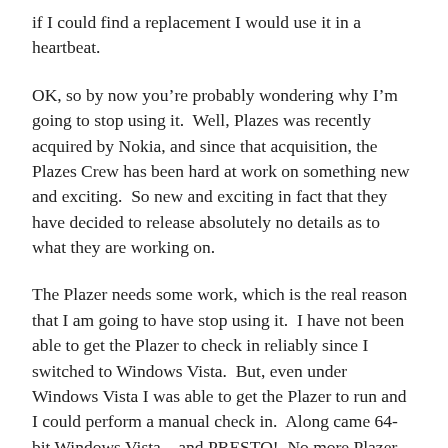if I could find a replacement I would use it in a heartbeat.
OK, so by now you’re probably wondering why I’m going to stop using it.  Well, Plazes was recently acquired by Nokia, and since that acquisition, the Plazes Crew has been hard at work on something new and exciting.  So new and exciting in fact that they have decided to release absolutely no details as to what they are working on.
The Plazer needs some work, which is the real reason that I am going to have stop using it.  I have not been able to get the Plazer to check in reliably since I switched to Windows Vista.  But, even under Windows Vista I was able to get the Plazer to run and I could perform a manual check in.  Along came 64-bit Windows Vista... and PRESTO!  No more Plazer.
I have posted messages in the Plazer support forum, sent emails to the Plazes Crew, but still have not come up with any answers.  I even considered using some kind of